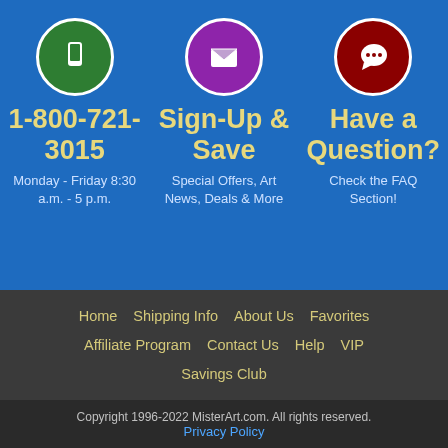[Figure (infographic): Three circular icons: green phone icon, purple email/envelope icon, dark red speech bubble/chat icon]
1-800-721-3015
Sign-Up & Save
Have a Question?
Monday - Friday 8:30 a.m. - 5 p.m.
Special Offers, Art News, Deals & More
Check the FAQ Section!
Home   Shipping Info   About Us   Favorites
Affiliate Program   Contact Us   Help   VIP
Savings Club
Copyright 1996-2022 MisterArt.com. All rights reserved.
Privacy Policy